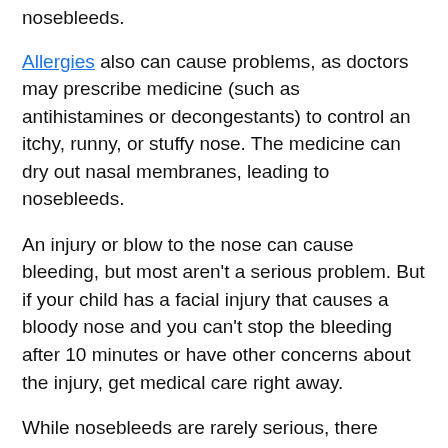nosebleeds.
Allergies also can cause problems, as doctors may prescribe medicine (such as antihistamines or decongestants) to control an itchy, runny, or stuffy nose. The medicine can dry out nasal membranes, leading to nosebleeds.
An injury or blow to the nose can cause bleeding, but most aren't a serious problem. But if your child has a facial injury that causes a bloody nose and you can't stop the bleeding after 10 minutes or have other concerns about the injury, get medical care right away.
While nosebleeds are rarely serious, there might be a problem if they happen a lot. If your child gets nosebleeds more than once a week, call your doctor.